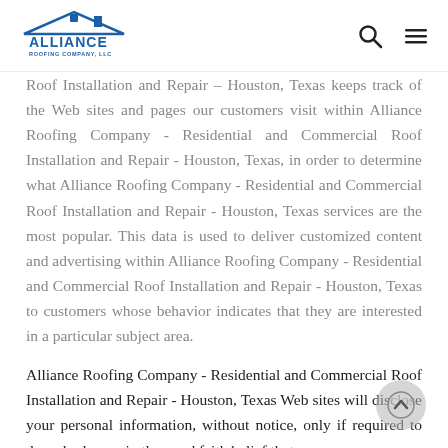Alliance Roofing Company, LLC — logo and navigation
Roof Installation and Repair – Houston, Texas keeps track of the Web sites and pages our customers visit within Alliance Roofing Company - Residential and Commercial Roof Installation and Repair - Houston, Texas, in order to determine what Alliance Roofing Company - Residential and Commercial Roof Installation and Repair - Houston, Texas services are the most popular. This data is used to deliver customized content and advertising within Alliance Roofing Company - Residential and Commercial Roof Installation and Repair - Houston, Texas to customers whose behavior indicates that they are interested in a particular subject area.
Alliance Roofing Company - Residential and Commercial Roof Installation and Repair - Houston, Texas Web sites will disclose your personal information, without notice, only if required to do so by law or in the good faith belief that